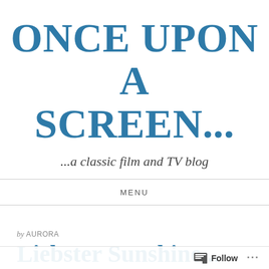ONCE UPON A SCREEN...
...a classic film and TV blog
MENU
by AURORA
Liebster Sunshine...